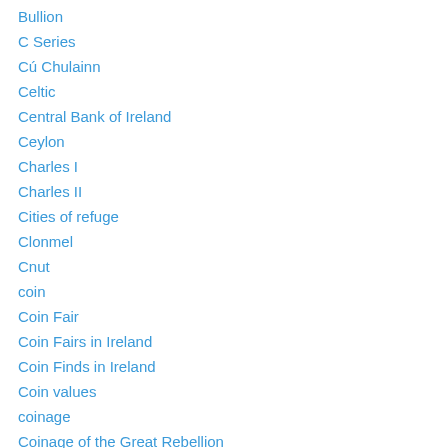Bullion
C Series
Cú Chulainn
Celtic
Central Bank of Ireland
Ceylon
Charles I
Charles II
Cities of refuge
Clonmel
Cnut
coin
Coin Fair
Coin Fairs in Ireland
Coin Finds in Ireland
Coin values
coinage
Coinage of the Great Rebellion
coins
Coins of Necessity